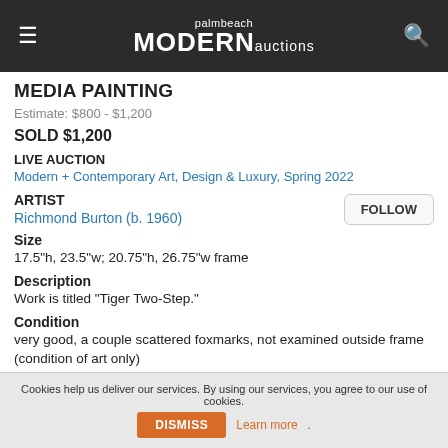palmbeach MODERN auctions
MEDIA PAINTING
Estimate: $800 - $1,200
SOLD $1,200
LIVE AUCTION
Modern + Contemporary Art, Design & Luxury, Spring 2022
ARTIST
Richmond Burton (b. 1960)
Size
17.5"h, 23.5"w; 20.75"h, 26.75"w frame
Description
Work is titled "Tiger Two-Step."
Condition
very good, a couple scattered foxmarks, not examined outside frame (condition of art only)
Cookies help us deliver our services. By using our services, you agree to our use of cookies. DISMISS Learn more.